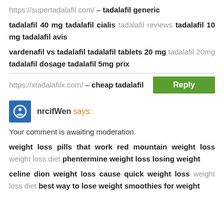https://supertadalafil.com/ – tadalafil generic
tadalafil 40 mg tadalafil cialis tadalafil reviews tadalafil 10 mg tadalafil avis
vardenafil vs tadalafil tadalafil tablets 20 mg tadalafil 20mg tadalafil dosage tadalafil 5mg prix
https://xtadalafilx.com/ – cheap tadalafil  Reply
nrcifWen says:
Your comment is awaiting moderation.
weight loss pills that work red mountain weight loss weight loss diet phentermine weight loss losing weight
celine dion weight loss cause quick weight loss weight loss diet best way to lose weight smoothies for weight